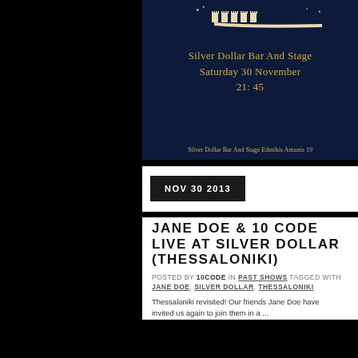[Figure (illustration): Dark navy event poster for Silver Dollar Bar And Stage showing a toothbrush illustration with small building icons, text reading 'Silver Dollar Bar And Stage Saturday 30 November 21: 45' in golden/cream color, and address 'Silver Dollar Bar And Stage Ethnikis Amunis 19' at bottom]
NOV 30 2013
JANE DOE & 10 CODE LIVE AT SILVER DOLLAR (THESSALONIKI)
POSTED BY 10CODE IN PAST SHOWS TAGGED WITH JANE DOE, SILVER DOLLAR, THESSALONIKI
Thessaloniki revisited! Our friends Jane Doe have invited us again to join them in a ...